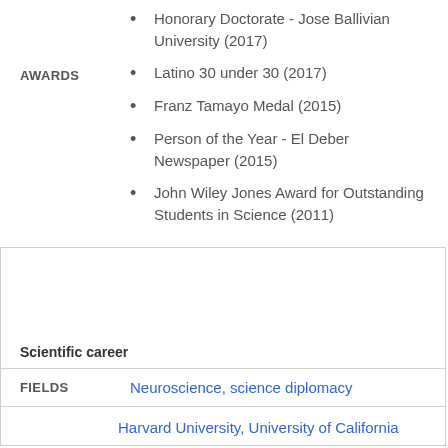Honorary Doctorate - Jose Ballivian University (2017)
Latino 30 under 30 (2017)
Franz Tamayo Medal (2015)
Person of the Year - El Deber Newspaper (2015)
John Wiley Jones Award for Outstanding Students in Science (2011)
Scientific career
FIELDS
Neuroscience, science diplomacy
Harvard University, University of California